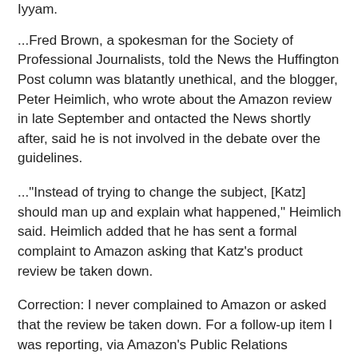Iyyam.
...Fred Brown, a spokesman for the Society of Professional Journalists, told the News the Huffington Post column was blatantly unethical, and the blogger, Peter Heimlich, who wrote about the Amazon review in late September and ontacted the News shortly after, said he is not involved in the debate over the guidelines.
..."Instead of trying to change the subject, [Katz] should man up and explain what happened," Heimlich said. Heimlich added that he has sent a formal complaint to Amazon asking that Katz's product review be taken down.
Correction: I never complained to Amazon or asked that the review be taken down. For a follow-up item I was reporting, via Amazon's Public Relations department I inquired whether Dr. Katz's review was in compliance with Amazon guidelines. The complete correspondence is posted on my Scribd account.